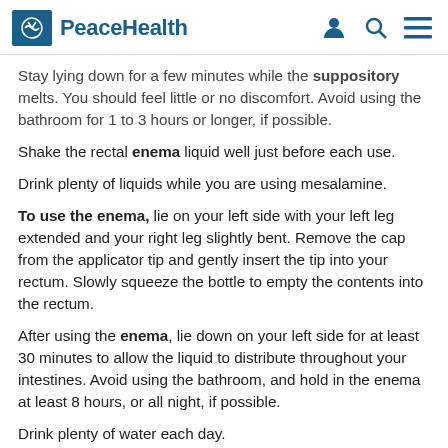PeaceHealth
Stay lying down for a few minutes while the suppository melts. You should feel little or no discomfort. Avoid using the bathroom for 1 to 3 hours or longer, if possible.
Shake the rectal enema liquid well just before each use.
Drink plenty of liquids while you are using mesalamine.
To use the enema, lie on your left side with your left leg extended and your right leg slightly bent. Remove the cap from the applicator tip and gently insert the tip into your rectum. Slowly squeeze the bottle to empty the contents into the rectum.
After using the enema, lie down on your left side for at least 30 minutes to allow the liquid to distribute throughout your intestines. Avoid using the bathroom, and hold in the enema at least 8 hours, or all night, if possible.
Drink plenty of water each day.